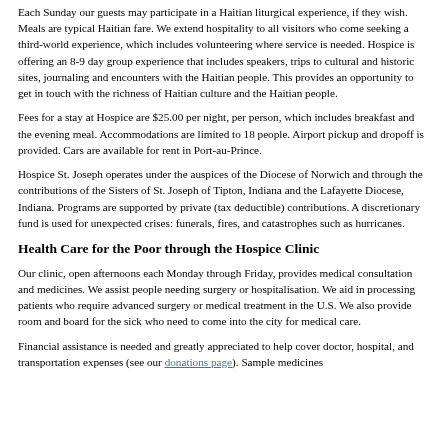Each Sunday our guests may participate in a Haitian liturgical experience, if they wish. Meals are typical Haitian fare. We extend hospitality to all visitors who come seeking a third-world experience, which includes volunteering where service is needed. Hospice is offering an 8-9 day group experience that includes speakers, trips to cultural and historic sites, journaling and encounters with the Haitian people. This provides an opportunity to get in touch with the richness of Haitian culture and the Haitian people.
Fees for a stay at Hospice are $25.00 per night, per person, which includes breakfast and the evening meal. Accommodations are limited to 18 people. Airport pickup and dropoff is provided. Cars are available for rent in Port-au-Prince.
Hospice St. Joseph operates under the auspices of the Diocese of Norwich and through the contributions of the Sisters of St. Joseph of Tipton, Indiana and the Lafayette Diocese, Indiana. Programs are supported by private (tax deductible) contributions. A discretionary fund is used for unexpected crises: funerals, fires, and catastrophes such as hurricanes.
Health Care for the Poor through the Hospice Clinic
Our clinic, open afternoons each Monday through Friday, provides medical consultation and medicines. We assist people needing surgery or hospitalisation. We aid in processing patients who require advanced surgery or medical treatment in the U.S. We also provide room and board for the sick who need to come into the city for medical care.
Financial assistance is needed and greatly appreciated to help cover doctor, hospital, and transportation expenses (see our donations page). Sample medicines